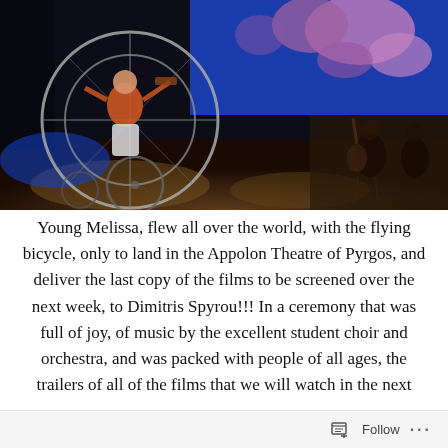[Figure (photo): A performer on a flying bicycle contraption with large metal hoops/rings on a dark stage with blue lighting. In the background, musicians with guitars are visible. Upper right shows a projection screen with blue and pink/mauve cloud imagery.]
Young Melissa, flew all over the world, with the flying bicycle, only to land in the Appolon Theatre of Pyrgos, and deliver the last copy of the films to be screened over the next week, to Dimitris Spyrou!!! In a ceremony that was full of joy, of music by the excellent student choir and orchestra, and was packed with people of all ages, the trailers of all of the films that we will watch in the next
Follow ···